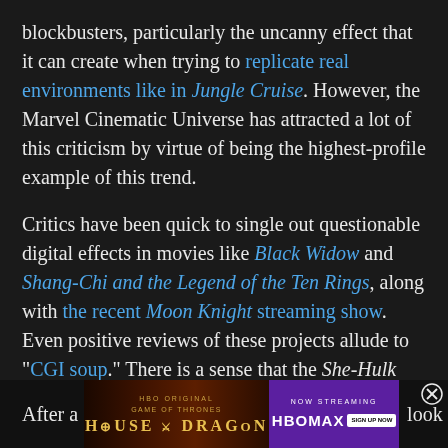blockbusters, particularly the uncanny effect that it can create when trying to replicate real environments like in Jungle Cruise. However, the Marvel Cinematic Universe has attracted a lot of this criticism by virtue of being the highest-profile example of this trend.
Critics have been quick to single out questionable digital effects in movies like Black Widow and Shang-Chi and the Legend of the Ten Rings, along with the recent Moon Knight streaming show. Even positive reviews of these projects allude to "CGI soup." There is a sense that the She-Hulk trailer just had the misfortune to be the straw that broke the camel's back, the point at which something that might otherwise be excusable or forgivable happened to reach critical mass.
After a look
[Figure (other): House of the Dragon HBO Original ad banner with HBO Max now streaming branding]